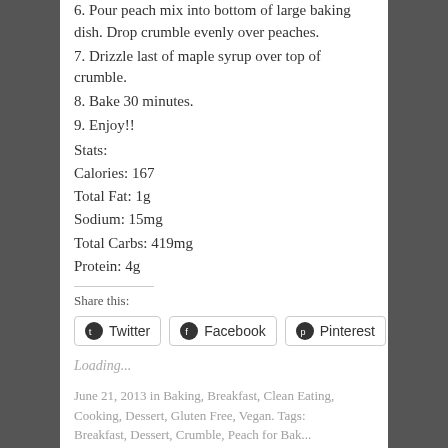6.  Pour peach mix into bottom of large baking dish.  Drop crumble evenly over peaches.
7.  Drizzle last of maple syrup over top of crumble.
8.  Bake 30 minutes.
9. Enjoy!!
Stats:
Calories:  167
Total Fat: 1g
Sodium:  15mg
Total Carbs:  419mg
Protein:  4g
Share this:
[Figure (other): Social share buttons: Twitter, Facebook, Pinterest]
Loading...
June 21, 2013 in Baking, Breakfast, Clean Eating, Cooking, Dessert, Gluten Free, Vegan. Tags: Breakfast, Dessert, Crumble, Peach for Bak...